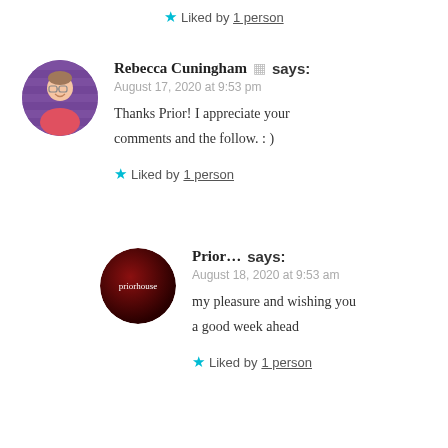★ Liked by 1 person
Rebecca Cuningham 🖼 says:
August 17, 2020 at 9:53 pm
Thanks Prior! I appreciate your comments and the follow. : )
★ Liked by 1 person
Prior... says:
August 18, 2020 at 9:53 am
my pleasure and wishing you a good week ahead
★ Liked by 1 person